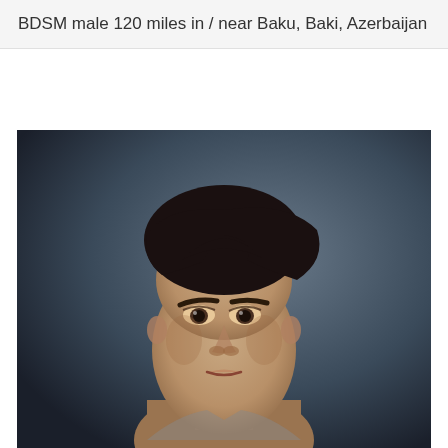BDSM male 120 miles in / near Baku, Baki, Azerbaijan
[Figure (photo): Portrait photo of a young man with dark hair against a dark blue-grey background, facing the camera directly.]